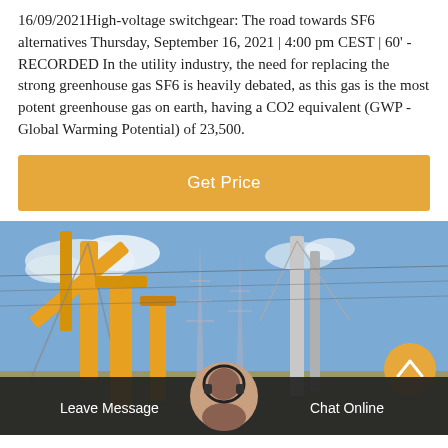16/09/2021High-voltage switchgear: The road towards SF6 alternatives Thursday, September 16, 2021 | 4:00 pm CEST | 60' - RECORDED In the utility industry, the need for replacing the strong greenhouse gas SF6 is heavily debated, as this gas is the most potent greenhouse gas on earth, having a CO2 equivalent (GWP - Global Warming Potential) of 23,500.
[Figure (other): Orange button labeled 'Get Price' on orange background]
[Figure (photo): Industrial high-voltage switchgear yard with yellow cranes and power transmission towers against a blue sky]
Leave Message | Chat Online